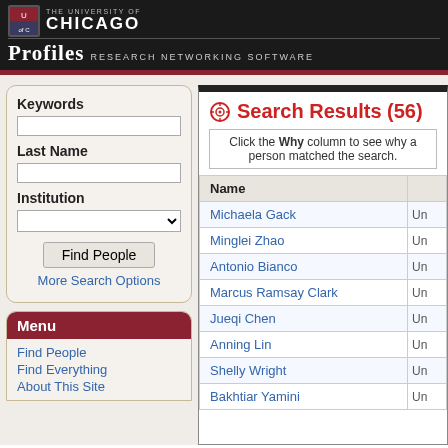The University of Chicago - PROFILES Research Networking Software
Keywords
Last Name
Institution
Find People
More Search Options
Menu
Find People
Find Everything
About This Site
Search Results (56)
Click the Why column to see why a person matched the search.
| Name |  |
| --- | --- |
| Michaela Gack | Un |
| Minglei Zhao | Un |
| Antonio Bianco | Un |
| Marcus Ramsay Clark | Un |
| Jueqi Chen | Un |
| Anning Lin | Un |
| Shelly Wright | Un |
| Bakhtiar Yamini | Un |